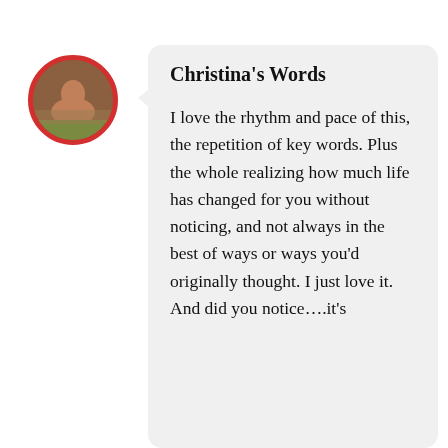[Figure (photo): Circular avatar with red border showing a person on a brown/amber background]
Christina's Words
I love the rhythm and pace of this, the repetition of key words. Plus the whole realizing how much life has changed for you without noticing, and not always in the best of ways or ways you’d originally thought. I just love it.
And did you notice….it’s